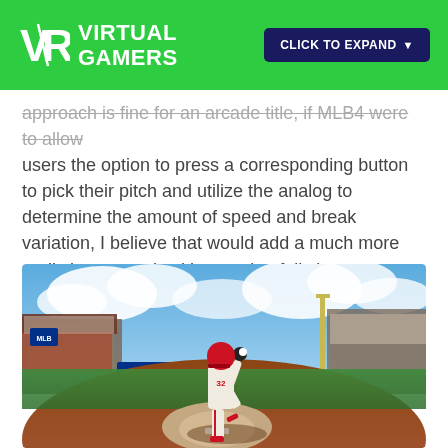VIRTUAL GAMERS | CLICK TO EXPAND
approach is fine for an arcade title, if MLB4 were to allow users the option to press a corresponding button to pick their pitch and utilize the analog to determine the amount of speed and break variation, I believe that would add a much more realistic approach without going full sim.
[Figure (photo): A baseball pitcher in a cream and red uniform with red cleats mid-windup on a pitcher's mound, with a stadium crowd and blue sky with clouds in the background. A 'Ballpark' sponsor sign is visible in the outfield.]